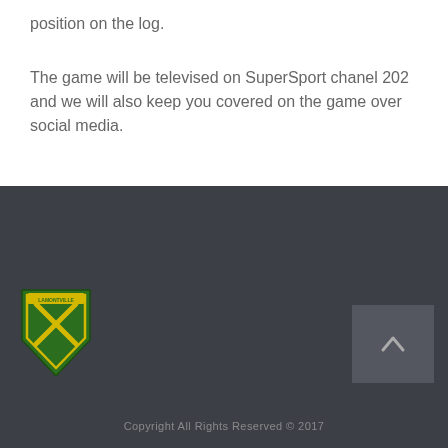position on the log.
The game will be televised on SuperSport chanel 202 and we will also keep you covered on the game over social media.
[Figure (logo): Lamontville Golden Arrows FC shield logo in green and yellow]
Copyright All Rights Reserved © 2017